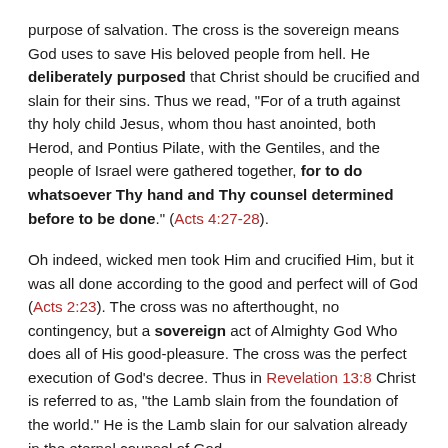purpose of salvation. The cross is the sovereign means God uses to save His beloved people from hell. He deliberately purposed that Christ should be crucified and slain for their sins. Thus we read, "For of a truth against thy holy child Jesus, whom thou hast anointed, both Herod, and Pontius Pilate, with the Gentiles, and the people of Israel were gathered together, for to do whatsoever Thy hand and Thy counsel determined before to be done." (Acts 4:27-28).
Oh indeed, wicked men took Him and crucified Him, but it was all done according to the good and perfect will of God (Acts 2:23). The cross was no afterthought, no contingency, but a sovereign act of Almighty God Who does all of His good-pleasure. The cross was the perfect execution of God's decree. Thus in Revelation 13:8 Christ is referred to as, "the Lamb slain from the foundation of the world." He is the Lamb slain for our salvation already in the eternal counsel of God.
That means that the cross is a power itself-the sovereign power of God. Since God, out of His great love, sent Christ to die for His people that through His